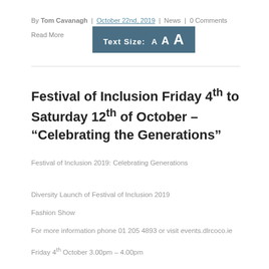By Tom Cavanagh | October 22nd, 2019 | News | 0 Comments
Read More
[Figure (other): Text Size selector bar showing: Text Size: A A A in increasing sizes on a dark teal background]
Festival of Inclusion Friday 4th to Saturday 12th of October – “Celebrating the Generations”
Festival of Inclusion 2019: Celebrating Generations
Diversity Launch of Festival of Inclusion 2019
Fashion Show
For more information phone 01 205 4893 or visit events.dlrcoco.ie
Friday 4th October 3.00pm – 4.00pm